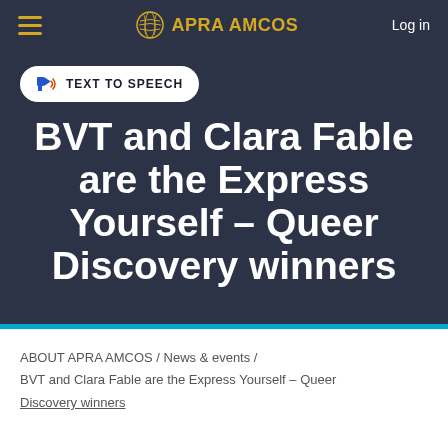APRA AMCOS — Log in
TEXT TO SPEECH
BVT and Clara Fable are the Express Yourself – Queer Discovery winners
ABOUT APRA AMCOS / News & events / BVT and Clara Fable are the Express Yourself – Queer Discovery winners